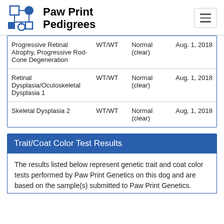Paw Print Pedigrees
| Condition | Result | Interpretation | Date |
| --- | --- | --- | --- |
| Progressive Retinal Atrophy, Progressive Rod-Cone Degeneration | WT/WT | Normal (clear) | Aug. 1, 2018 |
| Retinal Dysplasia/Oculoskeletal Dysplasia 1 | WT/WT | Normal (clear) | Aug. 1, 2018 |
| Skeletal Dysplasia 2 | WT/WT | Normal (clear) | Aug. 1, 2018 |
Trait/Coat Color Test Results
The results listed below represent genetic trait and coat color tests performed by Paw Print Genetics on this dog and are based on the sample(s) submitted to Paw Print Genetics.